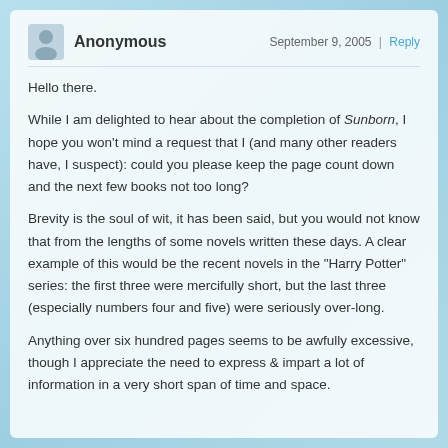Anonymous — September 9, 2005 | Reply
Hello there.
While I am delighted to hear about the completion of Sunborn, I hope you won't mind a request that I (and many other readers have, I suspect): could you please keep the page count down and the next few books not too long?
Brevity is the soul of wit, it has been said, but you would not know that from the lengths of some novels written these days. A clear example of this would be the recent novels in the "Harry Potter" series: the first three were mercifully short, but the last three (especially numbers four and five) were seriously over-long.
Anything over six hundred pages seems to be awfully excessive, though I appreciate the need to express & impart a lot of information in a very short span of time and space.